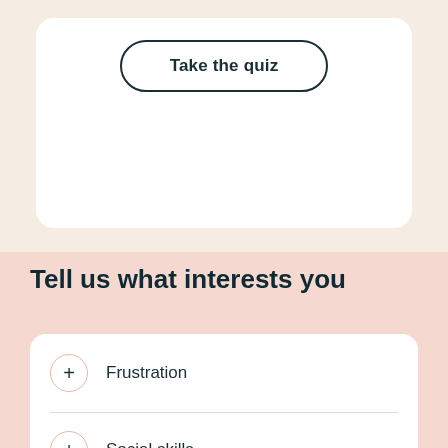[Figure (screenshot): A white card with a rounded rectangle button labeled 'Take the quiz' with dark border on a warm beige background]
Tell us what interests you
Frustration
Social skills